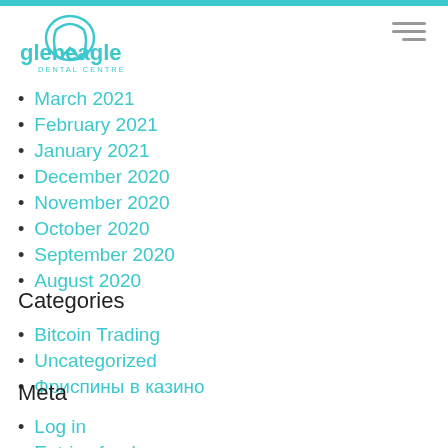[Figure (logo): Gleneagle Dental Centre logo with tooth icon and teal text]
March 2021
February 2021
January 2021
December 2020
November 2020
October 2020
September 2020
August 2020
Categories
Bitcoin Trading
Uncategorized
Фриспины в казино
Meta
Log in
Entries feed
Comments feed